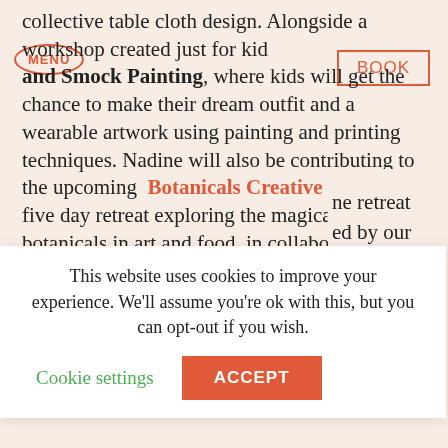MENU
BOOK
collective table cloth design. Alongside a workshop created just for kids and Smock Painting, where kids will get the chance to make their dream outfit and a wearable artwork using painting and printing techniques. Nadine will also be contributing to the upcoming Botanicals Creative Retreat, a five day retreat exploring the magical power of botanicals in art and food, in collaboration with Rebel Rebel's Tuscan Flower School, botanical … the retreat … ed by our … iences and … na yogi in … tails and tea … meditation … s.
This website uses cookies to improve your experience. We'll assume you're ok with this, but you can opt-out if you wish.
Cookie settings
ACCEPT